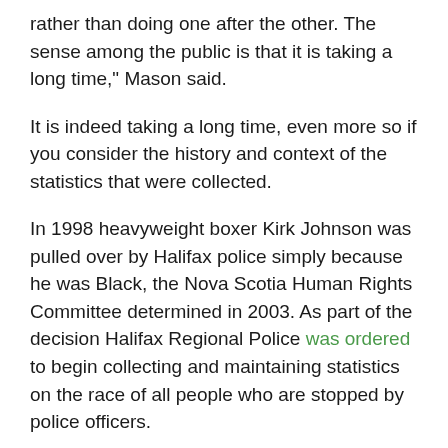rather than doing one after the other. The sense among the public is that it is taking a long time," Mason said.
It is indeed taking a long time, even more so if you consider the history and context of the statistics that were collected.
In 1998 heavyweight boxer Kirk Johnson was pulled over by Halifax police simply because he was Black, the Nova Scotia Human Rights Committee determined in 2003. As part of the decision Halifax Regional Police was ordered to begin collecting and maintaining statistics on the race of all people who are stopped by police officers.
It doesn’t seem to be a stretch to argue that Halifax Police should have looked at the data, rather than merely collect it for well over a decade. And lacking